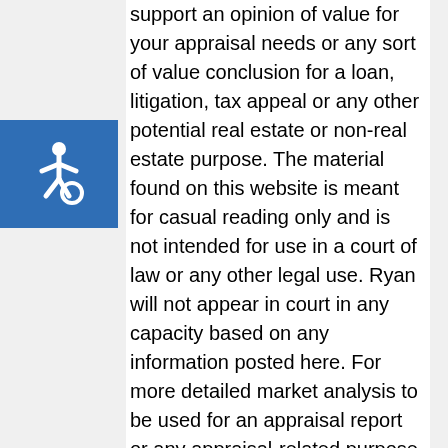support an opinion of value for your appraisal needs or any sort of value conclusion for a loan, litigation, tax appeal or any other potential real estate or non-real estate purpose. The material found on this website is meant for casual reading only and is not intended for use in a court of law or any other legal use. Ryan will not appear in court in any capacity based on any information posted here. For more detailed market analysis to be used for an appraisal report or any appraisal-related purpose or valuation consulting, please contact Ryan at 916-595-3735 for more information.
[Figure (illustration): Accessibility icon — white wheelchair symbol on blue square background]
There are no affiliate links on this blog, but there are three advertisements. Please do your homework before doing business with any advertisers as advertisements are not affiliated with this blog in any way. Two ads are located on the sidebar and one is at the bottom of each post. The ads earn a minor amount of revenue and are a simple reward for providing consistent original content to readers. If you think the ads interfere with your blog experience or the integrity of the blog somehow, let me know. I'm always open to feedback. Thank you again for